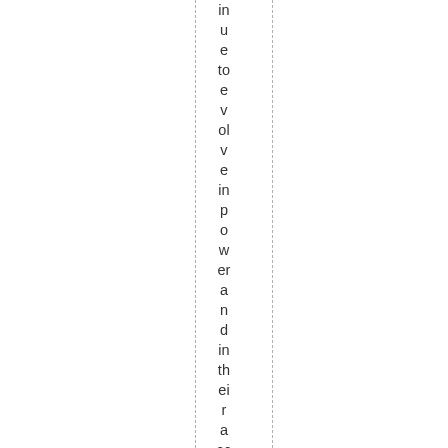in u e to e v ol v e in p o w er a n d in th ei r a cc e ss ibi lit y to th